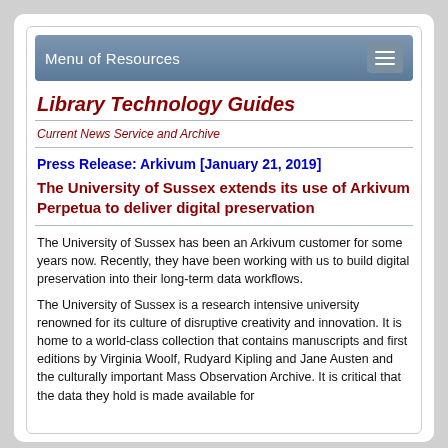Menu of Resources
Library Technology Guides
Current News Service and Archive
Press Release: Arkivum [January 21, 2019]
The University of Sussex extends its use of Arkivum Perpetua to deliver digital preservation
The University of Sussex has been an Arkivum customer for some years now. Recently, they have been working with us to build digital preservation into their long-term data workflows.
The University of Sussex is a research intensive university renowned for its culture of disruptive creativity and innovation. It is home to a world-class collection that contains manuscripts and first editions by Virginia Woolf, Rudyard Kipling and Jane Austen and the culturally important Mass Observation Archive. It is critical that the data they hold is made available for